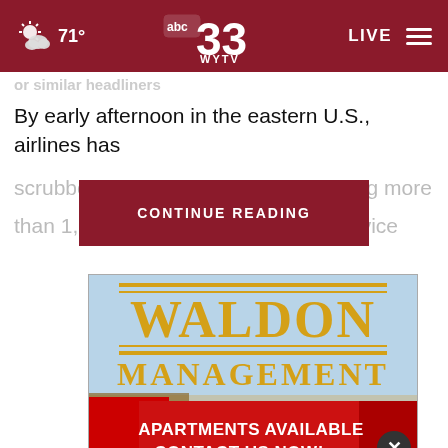71° LIVE abc33 WYTV
or similar headliners
By early afternoon in the eastern U.S., airlines has scrubbed more than 1,700 canceling more than 1,700 on tracking service
CONTINUE READING
[Figure (advertisement): Waldon Management apartment advertisement with gold text on blue sky background and red banner saying APARTMENTS AVAILABLE CONTACT US NOW!]
[Figure (advertisement): Waldon Management smaller ad strip at bottom with APARTMENTS AVAILABLE CONTACT US NOW! red banner and close button]